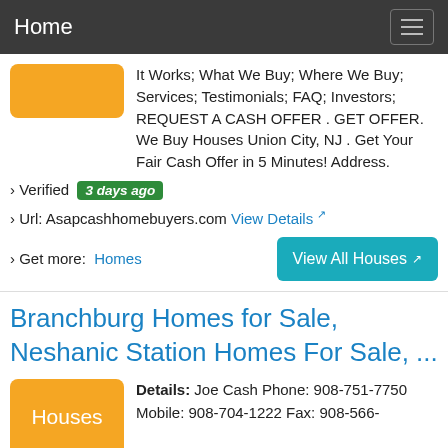Home
It Works; What We Buy; Where We Buy; Services; Testimonials; FAQ; Investors; REQUEST A CASH OFFER . GET OFFER. We Buy Houses Union City, NJ . Get Your Fair Cash Offer in 5 Minutes! Address.
› Verified 3 days ago
› Url: Asapcashhomebuyers.com View Details
› Get more: Homes
View All Houses
Branchburg Homes for Sale, Neshanic Station Homes For Sale, ...
Details: Joe Cash Phone: 908-751-7750 Mobile: 908-704-1222 Fax: 908-566-